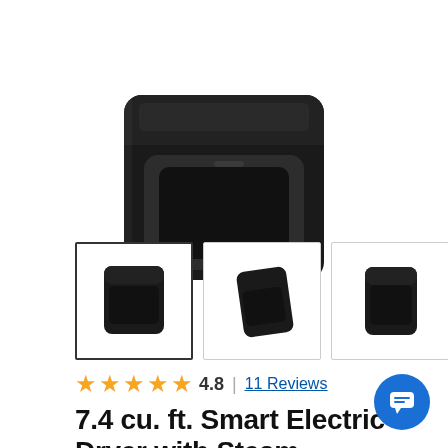[Figure (photo): Main product image of Samsung black electric dryer, top-down front view on white background]
[Figure (photo): Four thumbnail images of Samsung black electric dryer from different angles, with navigation arrow]
4.8 | 11 Reviews
7.4 cu. ft. Smart Electric Dryer with Steam